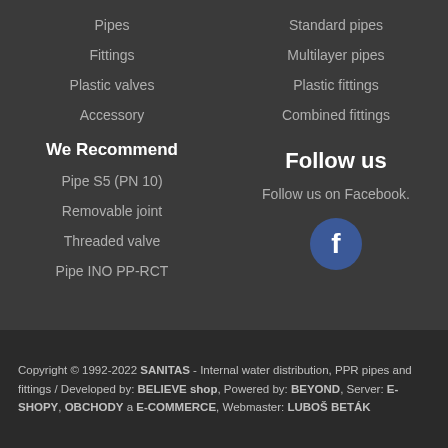Pipes
Fittings
Plastic valves
Accessory
We Recommend
Pipe S5 (PN 10)
Removable joint
Threaded valve
Pipe INO PP-RCT
Standard pipes
Multilayer pipes
Plastic fittings
Combined fittings
Follow us
Follow us on Facebook.
[Figure (logo): Facebook logo icon — blue circle with white 'f' letter]
Copyright © 1992-2022 SANITAS - Internal water distribution, PPR pipes and fittings / Developed by: BELIEVE shop, Powered by: BEYOND, Server: E-SHOPY, OBCHODY a E-COMMERCE, Webmaster: LUBOŠ BETÁK